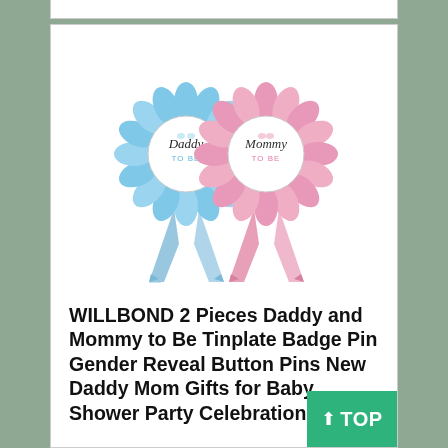[Figure (photo): Two rosette badge pins side by side: a blue one labeled 'Daddy TO BE' and a pink one labeled 'Mommy TO BE', each with ribbon tails hanging down.]
WILLBOND 2 Pieces Daddy and Mommy to Be Tinplate Badge Pin Gender Reveal Button Pins New Daddy Mom Gifts for Baby Shower Party Celebration, Pink